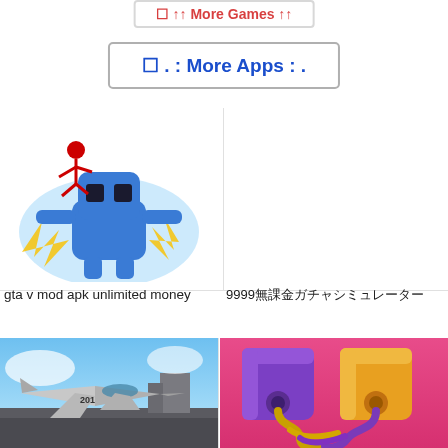☐ ↑↑ More Games ↑↑
☐  . : More Apps : .
[Figure (illustration): Blue cartoon robot character with red stick figure, explosion effects - game app icon for GTA V mod apk]
gta v mod apk unlimited money
[Figure (illustration): Empty white area - app icon placeholder for 9999 app]
9999無課金ガチャシミュレーター
[Figure (photo): Military jet fighter on aircraft carrier with blue sky - game app icon]
[Figure (illustration): Pink background with purple and yellow 3D cube characters connected by twisted rope - puzzle game app icon]